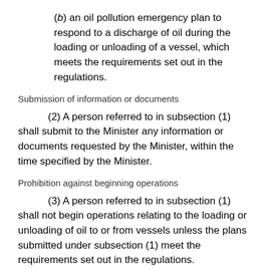(b) an oil pollution emergency plan to respond to a discharge of oil during the loading or unloading of a vessel, which meets the requirements set out in the regulations.
Submission of information or documents
(2) A person referred to in subsection (1) shall submit to the Minister any information or documents requested by the Minister, within the time specified by the Minister.
Prohibition against beginning operations
(3) A person referred to in subsection (1) shall not begin operations relating to the loading or unloading of oil to or from vessels unless the plans submitted under subsection (1) meet the requirements set out in the regulations.
Notification of operations
167.3 Subject to the regulations, the operator of